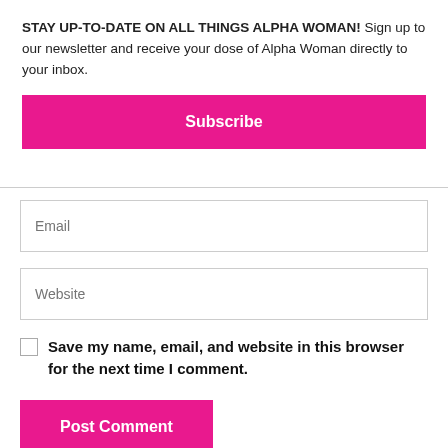STAY UP-TO-DATE ON ALL THINGS ALPHA WOMAN! Sign up to our newsletter and receive your dose of Alpha Woman directly to your inbox.
Subscribe
Email
Website
Save my name, email, and website in this browser for the next time I comment.
Post Comment